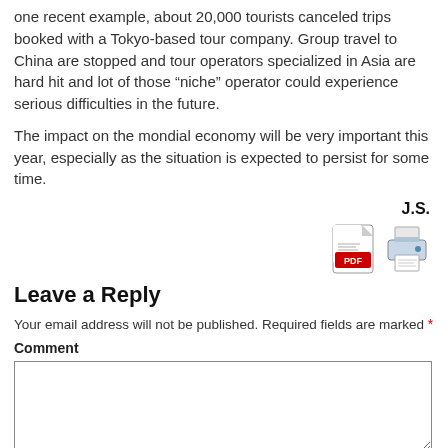one recent example, about 20,000 tourists canceled trips booked with a Tokyo-based tour company. Group travel to China are stopped and tour operators specialized in Asia are hard hit and lot of those “niche” operator could experience serious difficulties in the future.
The impact on the mondial economy will be very important this year, especially as the situation is expected to persist for some time.
J.S.
[Figure (other): PDF icon and printer icon side by side]
Leave a Reply
Your email address will not be published. Required fields are marked *
Comment
[Figure (other): Comment text area input box]